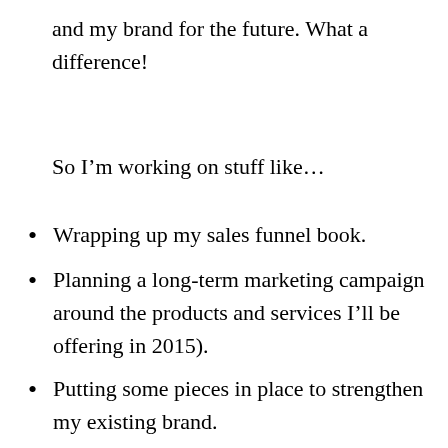and my brand for the future. What a difference!
So I’m working on stuff like…
Wrapping up my sales funnel book.
Planning a long-term marketing campaign around the products and services I’ll be offering in 2015).
Putting some pieces in place to strengthen my existing brand.